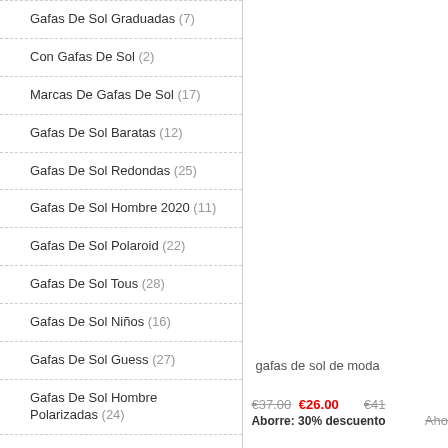Gafas De Sol Graduadas (7)
Con Gafas De Sol (2)
Marcas De Gafas De Sol (17)
Gafas De Sol Baratas (12)
Gafas De Sol Redondas (25)
Gafas De Sol Hombre 2020 (11)
Gafas De Sol Polaroid (22)
Gafas De Sol Tous (28)
Gafas De Sol Niños (16)
Gafas De Sol Guess (27)
Gafas De Sol Hombre Polarizadas (24)
Gafas De Sol Carolina Herrera (26)
Gafas De Sol Amazon (27)
Hawkers Gafas De Sol (24)
gafas de sol de moda
€37.00  €26.00   Aborre: 30% descuento